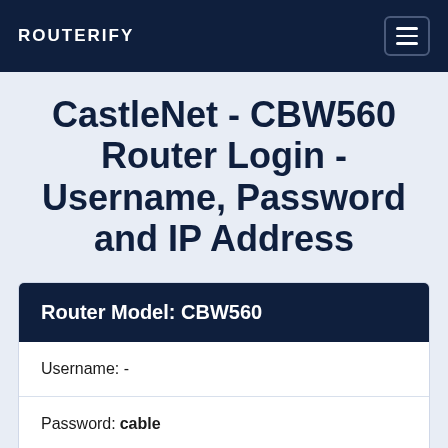ROUTERIFY
CastleNet - CBW560 Router Login - Username, Password and IP Address
| Field | Value |
| --- | --- |
| Router Model: | CBW560 |
| Username: | - |
| Password: | cable |
| IP Address: | 192.168.0.1 |